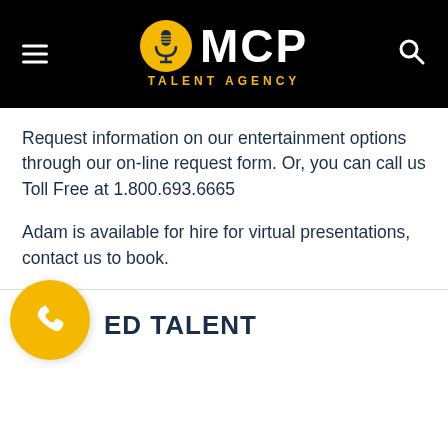[Figure (logo): MCP Talent Agency logo with gold microphone circle icon and white MCP text on black background, with TALENT AGENCY tagline in gold]
Request information on our entertainment options through our on-line request form. Or, you can call us Toll Free at 1.800.693.6665
Adam is available for hire for virtual presentations, contact us to book.
ED TALENT